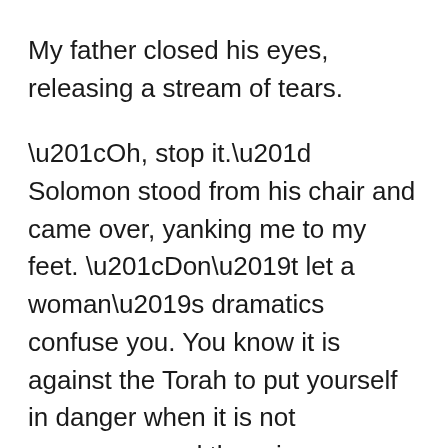My father closed his eyes, releasing a stream of tears.
“Oh, stop it.” Solomon stood from his chair and came over, yanking me to my feet. “Don’t let a woman’s dramatics confuse you. You know it is against the Torah to put yourself in danger when it is not necessary, and there is no question that it is not necessary for Míriam to be in danger.”
“If this is a halachic question, we should take it to the Rabbi,” said Judás. “But somehow, I don’t think it really is, Solomon.”